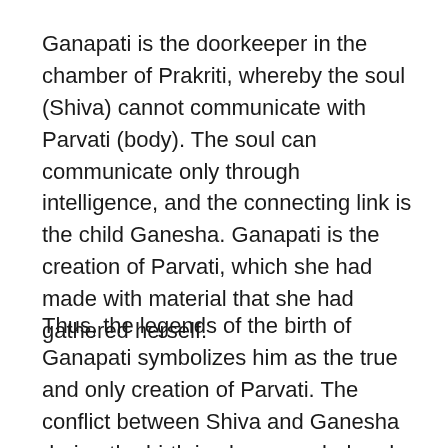Ganapati is the doorkeeper in the chamber of Prakriti, whereby the soul (Shiva) cannot communicate with Parvati (body). The soul can communicate only through intelligence, and the connecting link is the child Ganesha. Ganapati is the creation of Parvati, which she had made with material that she had gathered herself.
Thus, the legends of the birth of Ganapati symbolizes him as the true and only creation of Parvati. The conflict between Shiva and Ganesha during the birth is also a symbol and reflection of Shiva (the light of the chidakasam) in the field of creation (materiality of the earth). This goes on to prove that intelligence...